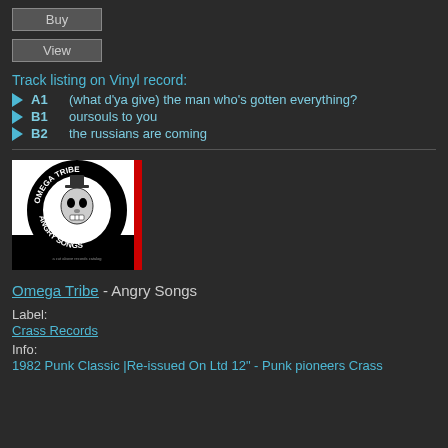Buy
View
Track listing on Vinyl record:
A1  (what d'ya give) the man who's gotten everything?
B1  oursouls to you
B2  the russians are coming
[Figure (illustration): Album cover for Omega Tribe - Angry Songs. Black and white image with a skull wearing a top hat, circular text reading OMEGA TRIBE and ANGRY SONGS.]
Omega Tribe - Angry Songs
Label:
Crass Records
Info:
1982 Punk Classic |Re-issued On Ltd 12" - Punk pioneers Crass